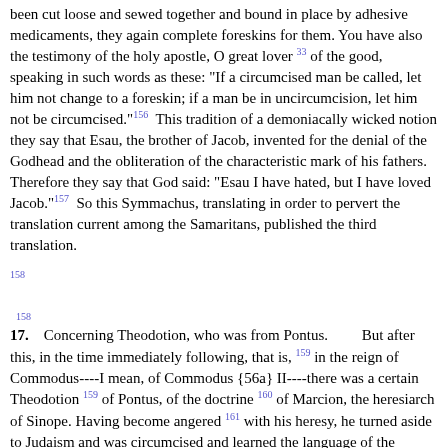been cut loose and sewed together and bound in place by adhesive medicaments, they again complete foreskins for them. You have also the testimony of the holy apostle, O great lover [33] of the good, speaking in such words as these: "If a circumcised man be called, let him not change to a foreskin; if a man be in uncircumcision, let him not be circumcised." [156] This tradition of a demoniacally wicked notion they say that Esau, the brother of Jacob, invented for the denial of the Godhead and the obliteration of the characteristic mark of his fathers. Therefore they say that God said: "Esau I have hated, but I have loved Jacob." [157] So this Symmachus, translating in order to pervert the translation current among the Samaritans, published the third translation.
17. [158] Concerning Theodotion, who was from Pontus. [158] But after this, in the time immediately following, that is, [159] in the reign of Commodus----I mean, of Commodus {56a} II----there was a certain Theodotion [159] of Pontus, of the doctrine [160] of Marcion, the heresiarch of Sinope. Having become angered [161] with his heresy, he turned aside to Judaism and was circumcised and learned the language of the Hebrews and their writings; he also published (a translation) on his own account. He published many things in agreement with the seventy-two, for he derived many (peculiar) practices from the translational habit(s) of the seventy-two. Now you become the judge, O great lover of the good, of such a matter as this, whether the truth is more likely to be found with these three----I mean Aquila, Symmachus, and Theodotion ----who, moreover, were not together, but were remote from one another in both time and place; and there were not many, but only three, and yet they were unable to agree with one another. Or (was the truth) with the seventy-two, who were the first to translate, were at the same time, and were divided into thirty-six groups, according to the command of the king? And, furthermore, they did not converse with one another, {56b} but by the Holy Spirit they brought out the entire translation in